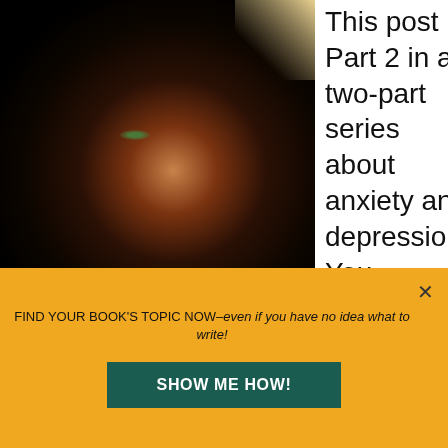[Figure (photo): Dark atmospheric photo of a child's face partially illuminated by a beam of light from the upper right, against a black background. Eyes are faintly visible with a greenish tint.]
This post is Part 2 in a two-part series about anxiety and depression. You can check out Part 1 here. Because this post
FIND YOUR BOOK'S TOPIC NOW–even if you have no idea what to write!
SHOW ME HOW!